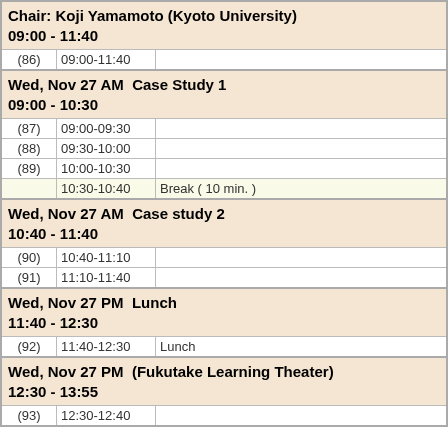| Chair: Koji Yamamoto (Kyoto University)
09:00 - 11:40 |  |  |
| (86) | 09:00-11:40 |  |
| Wed, Nov 27 AM  Case Study 1
09:00 - 10:30 |  |  |
| (87) | 09:00-09:30 |  |
| (88) | 09:30-10:00 |  |
| (89) | 10:00-10:30 |  |
|  | 10:30-10:40 | Break ( 10 min. ) |
| Wed, Nov 27 AM  Case study 2
10:40 - 11:40 |  |  |
| (90) | 10:40-11:10 |  |
| (91) | 11:10-11:40 |  |
| Wed, Nov 27 PM  Lunch
11:40 - 12:30 |  |  |
| (92) | 11:40-12:30 | Lunch |
| Wed, Nov 27 PM  (Fukutake Learning Theater)
12:30 - 13:55 |  |  |
| (93) | 12:30-12:40 |  |